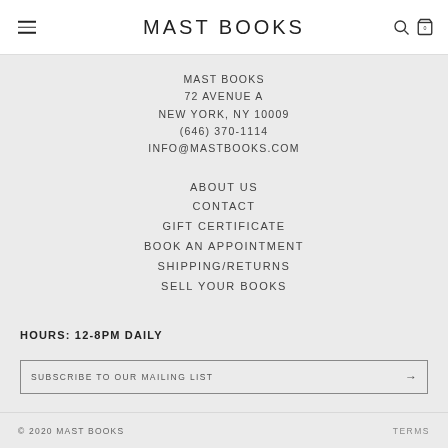MAST BOOKS
MAST BOOKS
72 AVENUE A
NEW YORK, NY 10009
(646) 370-1114
INFO@MASTBOOKS.COM
ABOUT US
CONTACT
GIFT CERTIFICATE
BOOK AN APPOINTMENT
SHIPPING/RETURNS
SELL YOUR BOOKS
HOURS: 12-8PM DAILY
SUBSCRIBE TO OUR MAILING LIST →
© 2020 MAST BOOKS    TERMS